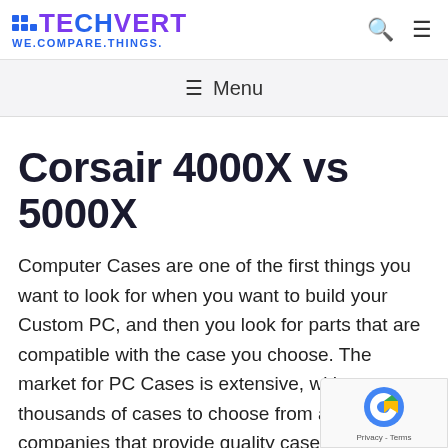TECHVERT WE.COMPARE.THINGS.
≡ Menu
Corsair 4000X vs 5000X
Computer Cases are one of the first things you want to look for when you want to build your Custom PC, and then you look for parts that are compatible with the case you choose. The market for PC Cases is extensive, with thousands of cases to choose from and different companies that provide quality cases. One of the most prominent